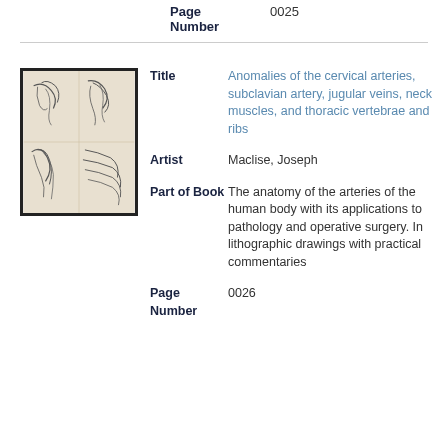| Field | Value |
| --- | --- |
| Page Number | 0025 |
| Title | Anomalies of the cervical arteries, subclavian artery, jugular veins, neck muscles, and thoracic vertebrae and ribs |
| Artist | Maclise, Joseph |
| Part of Book | The anatomy of the arteries of the human body with its applications to pathology and operative surgery. In lithographic drawings with practical commentaries |
| Page Number | 0026 |
[Figure (illustration): Anatomical lithographic illustration showing cervical arteries and neck structures with multiple detailed views arranged in a grid]